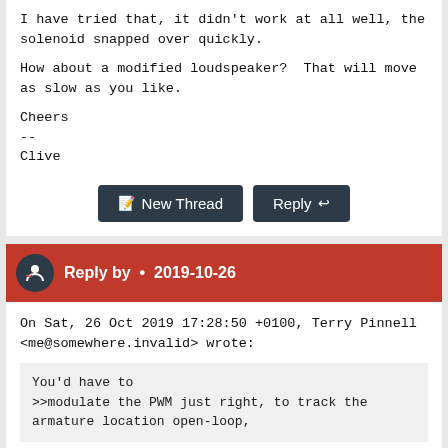I have tried that, it didn't work at all well, the solenoid snapped over quickly.

How about a modified loudspeaker?  That will move as slow as you like.

Cheers
--
Clive
New Thread   Reply
Reply by • 2019-10-26
On Sat, 26 Oct 2019 17:28:50 +0100, Terry Pinnell
<me@somewhere.invalid> wrote:
You'd have to
>>modulate the PWM just right, to track the armature location open-loop,